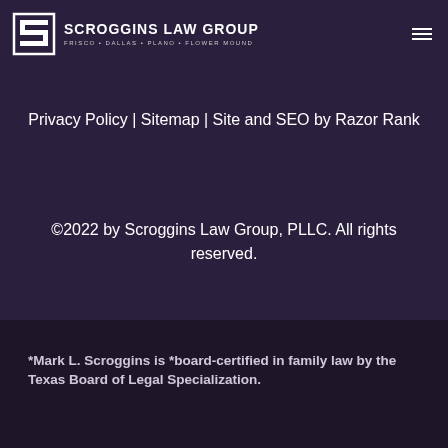SCROGGINS LAW GROUP — FRISCO • DALLAS • PLANO • FLOWER MOUND
Privacy Policy | Sitemap | Site and SEO by Razor Rank
©2022 by Scroggins Law Group, PLLC. All rights reserved.
*Mark L. Scroggins is *board-certified in family law by the Texas Board of Legal Specialization.